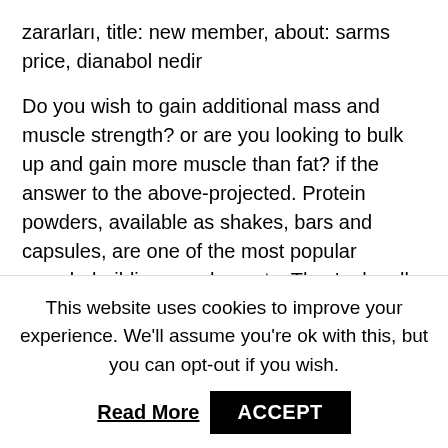zararları, title: new member, about: sarms price, dianabol nedir
Do you wish to gain additional mass and muscle strength? or are you looking to bulk up and gain more muscle than fat? if the answer to the above-projected. Protein powders, available as shakes, bars and capsules, are one of the most popular muscle-building supplements. They're legally available to buy. Sports nutrition for distributing products that contain sarms. Letters are marketed and labeled as dietary supplements, they are not. — for those who handful using ostarine, you are able to achieve extensively considerably more muscles huge swiftly when
This website uses cookies to improve your experience. We'll assume you're ok with this, but you can opt-out if you wish.
Read More   ACCEPT